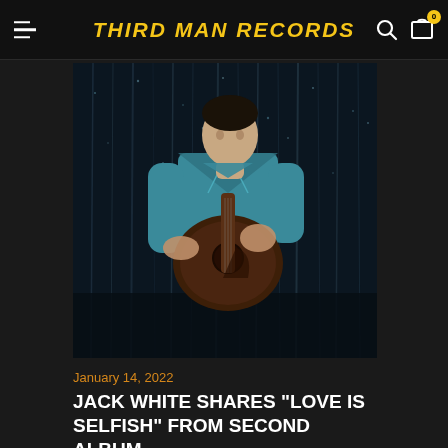THIRD MAN RECORDS
[Figure (photo): Man in teal western shirt playing acoustic guitar in front of dark sequined curtain background]
January 14, 2022
JACK WHITE SHARES “LOVE IS SELFISH” FROM SECOND ALBUM